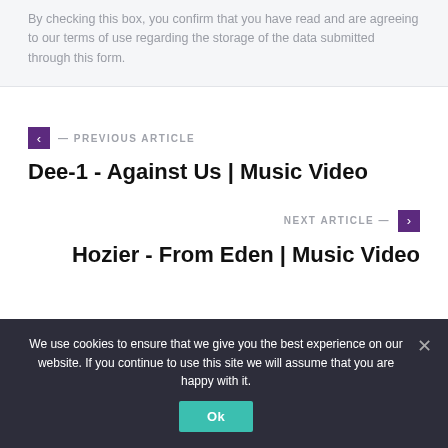By checking this box, you confirm that you have read and are agreeing to our terms of use regarding the storage of the data submitted through this form.
— PREVIOUS ARTICLE
Dee-1 - Against Us | Music Video
NEXT ARTICLE —
Hozier - From Eden | Music Video
We use cookies to ensure that we give you the best experience on our website. If you continue to use this site we will assume that you are happy with it.